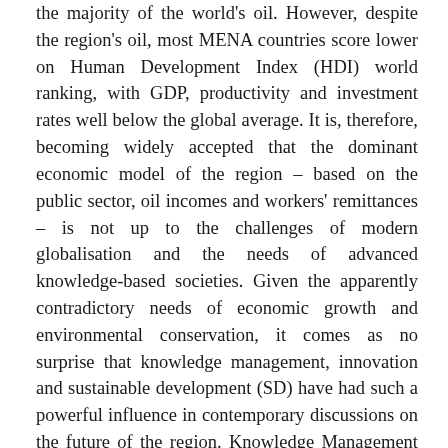the majority of the world's oil. However, despite the region's oil, most MENA countries score lower on Human Development Index (HDI) world ranking, with GDP, productivity and investment rates well below the global average. It is, therefore, becoming widely accepted that the dominant economic model of the region – based on the public sector, oil incomes and workers' remittances – is not up to the challenges of modern globalisation and the needs of advanced knowledge-based societies. Given the apparently contradictory needs of economic growth and environmental conservation, it comes as no surprise that knowledge management, innovation and sustainable development (SD) have had such a powerful influence in contemporary discussions on the future of the region. Knowledge Management Knowledge Economy Leadership Change Management Transformation